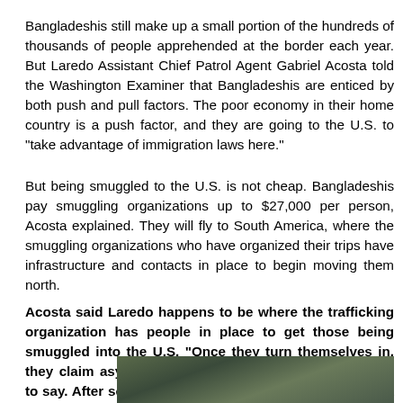Bangladeshis still make up a small portion of the hundreds of thousands of people apprehended at the border each year. But Laredo Assistant Chief Patrol Agent Gabriel Acosta told the Washington Examiner that Bangladeshis are enticed by both push and pull factors. The poor economy in their home country is a push factor, and they are going to the U.S. to "take advantage of immigration laws here."
But being smuggled to the U.S. is not cheap. Bangladeshis pay smuggling organizations up to $27,000 per person, Acosta explained. They will fly to South America, where the smuggling organizations who have organized their trips have infrastructure and contacts in place to begin moving them north.
Acosta said Laredo happens to be where the trafficking organization has people in place to get those being smuggled into the U.S. "Once they turn themselves in, they claim asylum. They have also been coached what to say. After some time in DHS custody, they are given a court date and released. Most are never seen again," he added.
[Figure (photo): Partial view of a photo at the bottom of the page, showing what appears to be an outdoor/nature scene.]